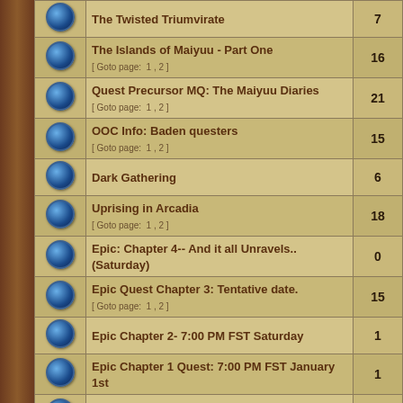|  | Topic | Replies |
| --- | --- | --- |
|  | The Twisted Triumvirate | 7 |
|  | The Islands of Maiyuu - Part One
[ Goto page: 1, 2 ] | 16 |
|  | Quest Precursor MQ: The Maiyuu Diaries
[ Goto page: 1, 2 ] | 21 |
|  | OOC Info: Baden questers
[ Goto page: 1, 2 ] | 15 |
|  | Dark Gathering | 6 |
|  | Uprising in Arcadia
[ Goto page: 1, 2 ] | 18 |
|  | Epic: Chapter 4-- And it all Unravels.. (Saturday) | 0 |
|  | Epic Quest Chapter 3: Tentative date.
[ Goto page: 1, 2 ] | 15 |
|  | Epic Chapter 2- 7:00 PM FST Saturday | 1 |
|  | Epic Chapter 1 Quest: 7:00 PM FST January 1st | 1 |
|  | Epic Quest Introduction: Thurs. Dec. 28, 7:00 PM FST. | 0 |
|  | Dalin and Path's Annual Yule-Tide Event! >:D | 4 |
|  | To See the Forest for the Trees | 11 |
|  | Endangered Historian | 8 |